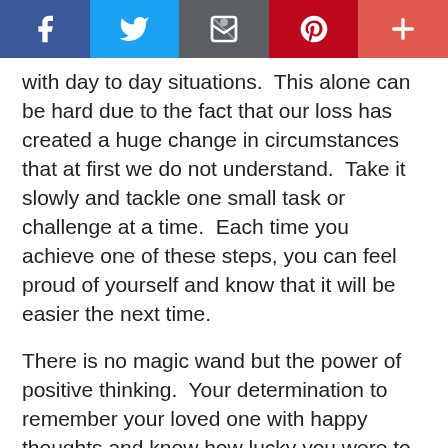[Figure (other): Social media share bar with Facebook, Twitter, Email, Pinterest, and More buttons]
with day to day situations.  This alone can be hard due to the fact that our loss has created a huge change in circumstances that at first we do not understand.  Take it slowly and tackle one small task or challenge at a time.  Each time you achieve one of these steps, you can feel proud of yourself and know that it will be easier the next time.
There is no magic wand but the power of positive thinking.  Your determination to remember your loved one with happy thoughts and know how lucky you were to have known them will help.
One day you will be shocked when you realise that you have enjoyed an outing with friends or family or you are uplifted by a beautiful view or a piece of music. Something you have long hoped to enjoy without the feeling of guilt or sadness that your loved one is not